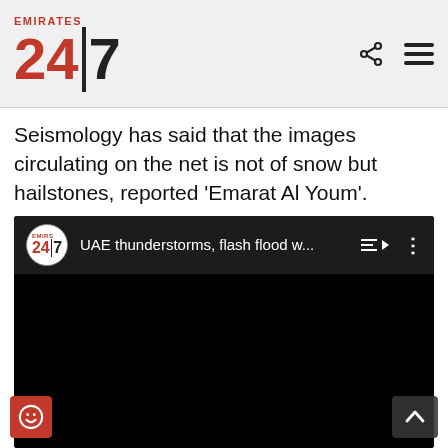Emirates 24|7
Seismology has said that the images circulating on the net is not of snow but hailstones, reported 'Emarat Al Youm'.
[Figure (screenshot): Embedded video player (black) with Emirates 24|7 channel logo and title 'UAE thunderstorms, flash flood w...']